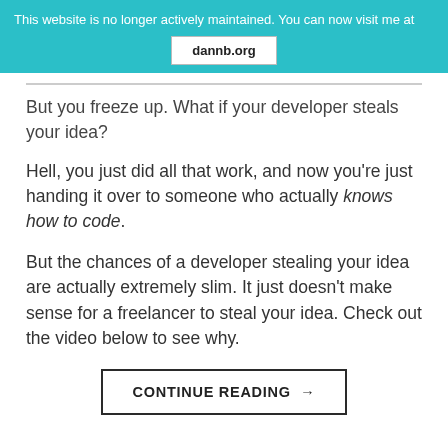This website is no longer actively maintained. You can now visit me at dannb.org
But you freeze up. What if your developer steals your idea?
Hell, you just did all that work, and now you're just handing it over to someone who actually knows how to code.
But the chances of a developer stealing your idea are actually extremely slim. It just doesn't make sense for a freelancer to steal your idea. Check out the video below to see why.
CONTINUE READING →